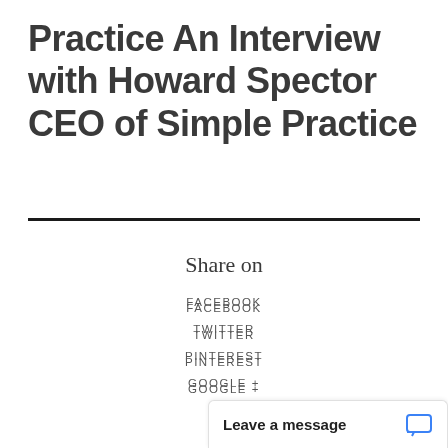Practice An Interview with Howard Spector CEO of Simple Practice
Share on
FACEBOOK
TWITTER
PINTEREST
GOOGLE +
LINKEDIN
EMAIL
Leave a message